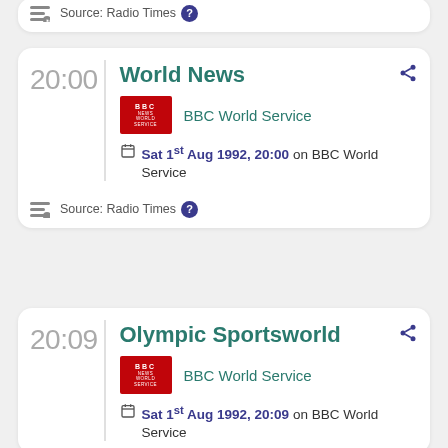Source: Radio Times
20:00 World News
BBC World Service
Sat 1st Aug 1992, 20:00 on BBC World Service
Source: Radio Times
20:09 Olympic Sportsworld
BBC World Service
Sat 1st Aug 1992, 20:09 on BBC World Service